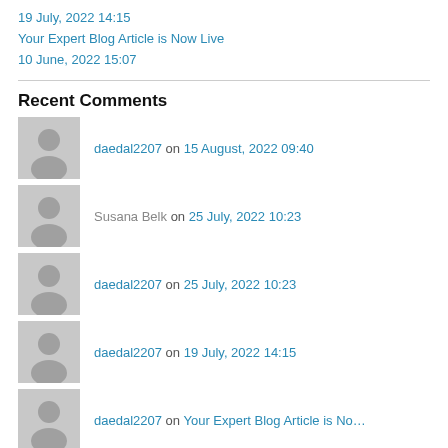19 July, 2022 14:15
Your Expert Blog Article is Now Live
10 June, 2022 15:07
Recent Comments
daedal2207 on 15 August, 2022 09:40
Susana Belk on 25 July, 2022 10:23
daedal2207 on 25 July, 2022 10:23
daedal2207 on 19 July, 2022 14:15
daedal2207 on Your Expert Blog Article is No…